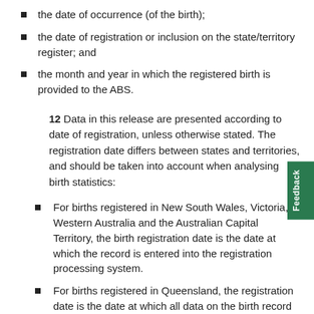the date of occurrence (of the birth);
the date of registration or inclusion on the state/territory register; and
the month and year in which the registered birth is provided to the ABS.
12 Data in this release are presented according to date of registration, unless otherwise stated. The registration date differs between states and territories, and should be taken into account when analysing birth statistics:
For births registered in New South Wales, Victoria, Western Australia and the Australian Capital Territory, the birth registration date is the date at which the record is entered into the registration processing system.
For births registered in Queensland, the registration date is the date at which all data on the birth record are finalised. This